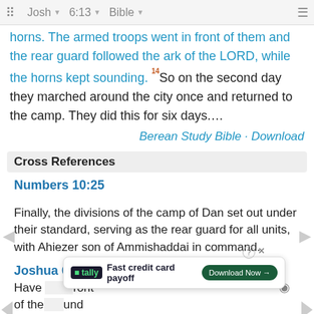Josh  6:13  Bible
horns. The armed troops went in front of them and the rear guard followed the ark of the LORD, while the horns kept sounding. 14So on the second day they marched around the city once and returned to the camp. They did this for six days….
Berean Study Bible · Download
Cross References
Numbers 10:25
Finally, the divisions of the camp of Dan set out under their standard, serving as the rear guard for all units, with Ahiezer son of Ammishaddai in command.
Joshua 6:4
Have [seven priests carry seven rams' horns] in front of the [ark]… around the ci[ty]